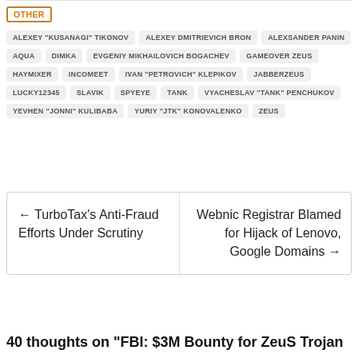OTHER
ALEXEY "KUSANAGI" TIKONOV
ALEXEY DMITRIEVICH BRON
ALEXSANDER PANIN
AQUA
DIMKA
EVGENIY MIKHAILOVICH BOGACHEV
GAMEOVER ZEUS
HAYMIXER
INCOMEET
IVAN "PETROVICH" KLEPIKOV
JABBERZEUS
LUCKY12345
SLAVIK
SPYEYE
TANK
VYACHESLAV "TANK" PENCHUKOV
YEVHEN "JONNI" KULIBABA
YURIY "JTK" KONOVALENKO
ZEUS
← TurboTax's Anti-Fraud Efforts Under Scrutiny
Webnic Registrar Blamed for Hijack of Lenovo, Google Domains →
40 thoughts on "FBI: $3M Bounty for ZeuS Trojan